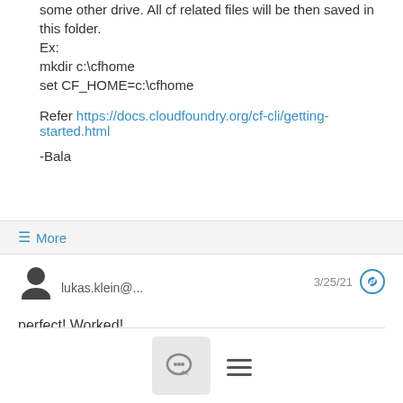some other drive. All cf related files will be then saved in this folder.
Ex:
mkdir c:\cfhome
set CF_HOME=c:\cfhome
Refer https://docs.cloudfoundry.org/cf-cli/getting-started.html
-Bala
Show quoted text
≡ More
lukas.klein@... 3/25/21
perfect! Worked!